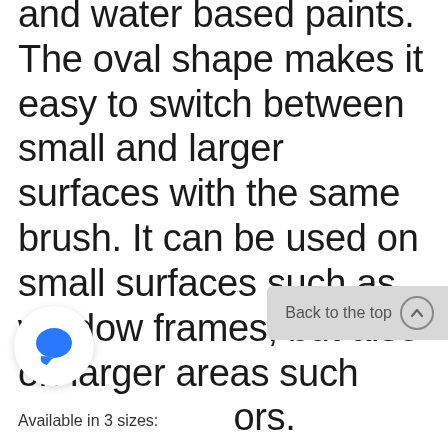applying both synthetic and water based paints. The oval shape makes it easy to switch between small and larger surfaces with the same brush. It can be used on small surfaces such as window frames, but also on larger areas such as floors.
Available in 3 sizes: